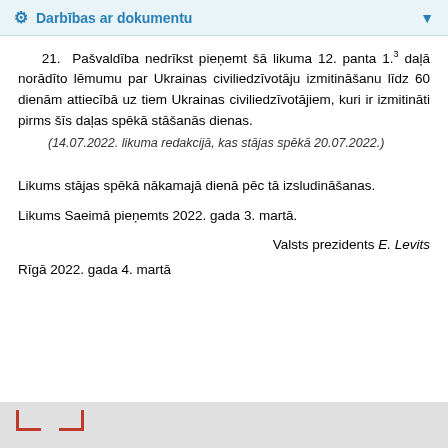Darbības ar dokumentu
21. Pašvaldība nedrīkst pieņemt šā likuma 12. panta 1.3 daļā norādīto lēmumu par Ukrainas civiliedzīvotāju izmitināšanu līdz 60 dienām attiecībā uz tiem Ukrainas civiliedzīvotājiem, kuri ir izmitināti pirms šīs daļas spēkā stāšanās dienas.
(14.07.2022. likuma redakcijā, kas stājas spēkā 20.07.2022.)
Likums stājas spēkā nākamajā dienā pēc tā izsludināšanas.
Likums Saeimā pieņemts 2022. gada 3. martā.
Valsts prezidents E. Levits
Rīgā 2022. gada 4. martā